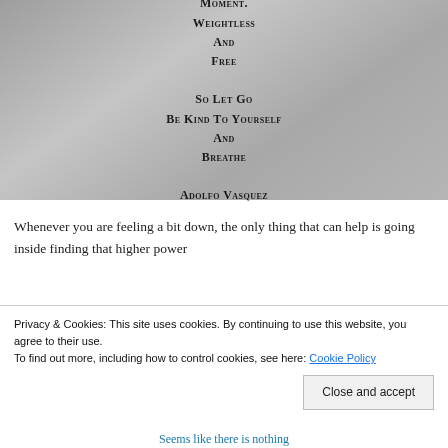[Figure (photo): A photograph of an engraved or stamped metal surface with poem text: 'Moment. Weightless And Free So Let Go Be Kind To Yourself And Breathe' attributed to Adolfo Vasquez]
Whenever you are feeling a bit down, the only thing that can help is going inside finding that higher power
Privacy & Cookies: This site uses cookies. By continuing to use this website, you agree to their use. To find out more, including how to control cookies, see here: Cookie Policy
Close and accept
Seems like there is nothing